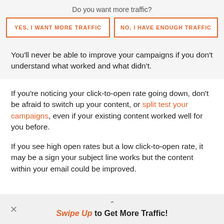Do you want more traffic?
[Figure (other): Two call-to-action buttons: 'YES, I WANT MORE TRAFFIC' and 'NO, I HAVE ENOUGH TRAFFIC', with orange borders on white background]
You'll never be able to improve your campaigns if you don't understand what worked and what didn't.
If you're noticing your click-to-open rate going down, don't be afraid to switch up your content, or split test your campaigns, even if your existing content worked well for you before.
If you see high open rates but a low click-to-open rate, it may be a sign your subject line works but the content within your email could be improved.
Swipe Up to Get More Traffic!